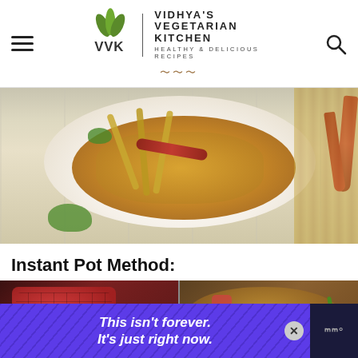VIDHYA'S VEGETARIAN KITCHEN — HEALTHY & DELICIOUS RECIPES
[Figure (photo): Overhead photo of a white bowl filled with a yellow lentil curry dish garnished with cilantro, dried red chilies, and banana blossom strips, on a white wooden surface with dried red chilies and cilantro on the side.]
Instant Pot Method:
[Figure (photo): Two-panel step photo showing left: chopped tomatoes being added to an Instant Pot, right: liquid with tomatoes and green chilies in the Instant Pot.]
This isn't forever. It's just right now.